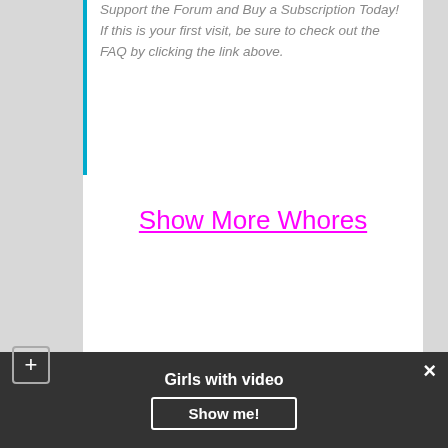Support the Forum and Buy a Subscription Today! If this is your first visit, be sure to check out the FAQ by clicking the link above.
Show More Whores
By admin | 29.12.2018 | Chile | 1 Comments |
Slut in Rancagua
Leave a comment
Girls with video
Show me!